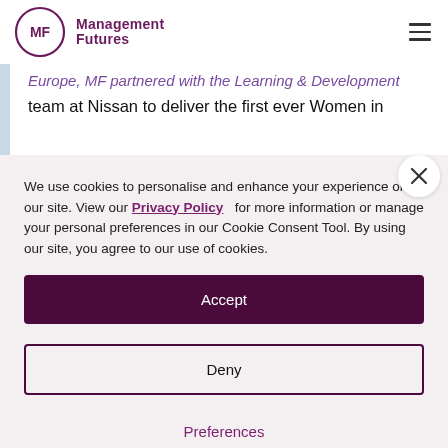Management Futures
Europe, MF partnered with the Learning & Development team at Nissan to deliver the first ever Women in
We use cookies to personalise and enhance your experience on our site. View our Privacy Policy for more information or manage your personal preferences in our Cookie Consent Tool. By using our site, you agree to our use of cookies.
Accept
Deny
Preferences